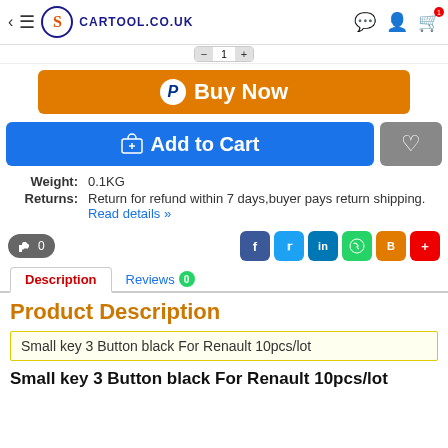CARTOOL.CO.UK
[Figure (screenshot): Buy Now button with PayPal icon, orange background]
[Figure (screenshot): Add to Cart blue button and grey wishlist button]
Weight: 0.1KG
Returns: Return for refund within 7 days,buyer pays return shipping. Read details »
[Figure (screenshot): Like button (0) and social sharing icons: Facebook, Twitter, LinkedIn, WhatsApp, Blogger, plus]
Description | Reviews 0
Product Description
Small key 3 Button black For Renault 10pcs/lot
Small key 3 Button black For Renault 10pcs/lot